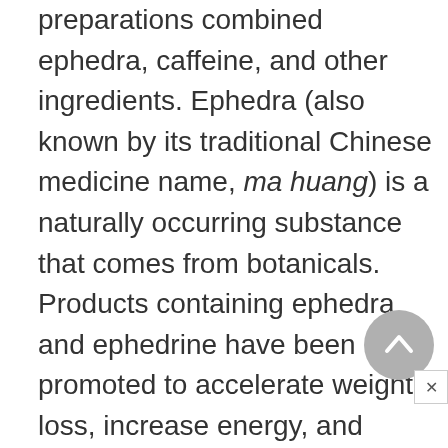preparations combined ephedra, caffeine, and other ingredients. Ephedra (also known by its traditional Chinese medicine name, ma huang) is a naturally occurring substance that comes from botanicals. Products containing ephedra and ephedrine have been promoted to accelerate weight loss, increase energy, and improve athletic performance. The principal active ingredient in ephedrine is an amphetamine-like compound that stimulates the nervous system and